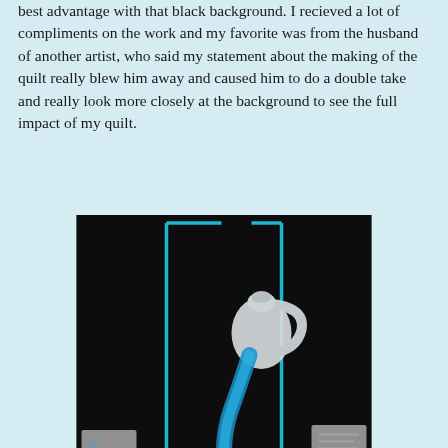best advantage with that black background. I recieved a lot of compliments on the work and my favorite was from the husband of another artist, who said my statement about the making of the quilt really blew him away and caused him to do a double take and really look more closely at the background to see the full impact of my quilt.
[Figure (photo): A quilt displayed against a black background showing a white pitcher/jug pouring blue water that swirls in waves at the bottom, with a turquoise/cyan outline border around the quilt. Exhibition labels visible on the sides.]